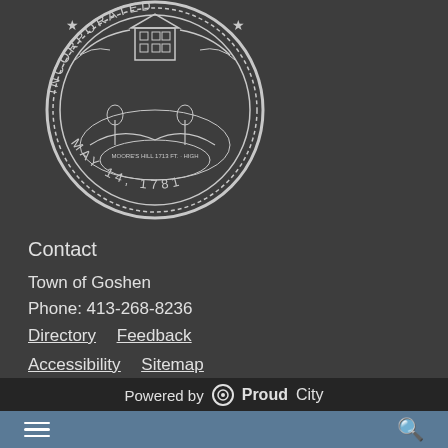[Figure (logo): Town of Goshen official seal — circular seal showing a building, landscape, stars, and text 'INCORPORATED MAY 14, 1781' and 'MOORE'S HILL 1713 FT. HIGH']
Contact
Town of Goshen
Phone: 413-268-8236
Directory   Feedback
Accessibility   Sitemap
Powered by ProudCity
☰  🔍